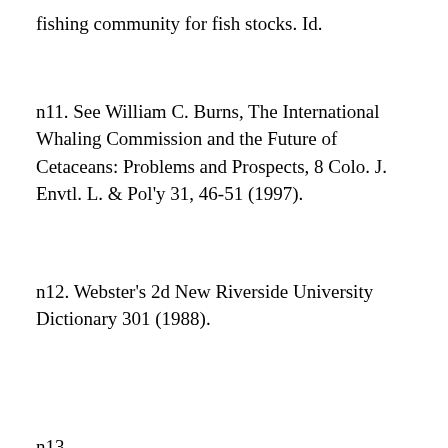fishing community for fish stocks. Id.
n11. See William C. Burns, The International Whaling Commission and the Future of Cetaceans: Problems and Prospects, 8 Colo. J. Envtl. L. & Pol'y 31, 46-51 (1997).
n12. Webster's 2d New Riverside University Dictionary 301 (1988).
n13. [text cut off at bottom]